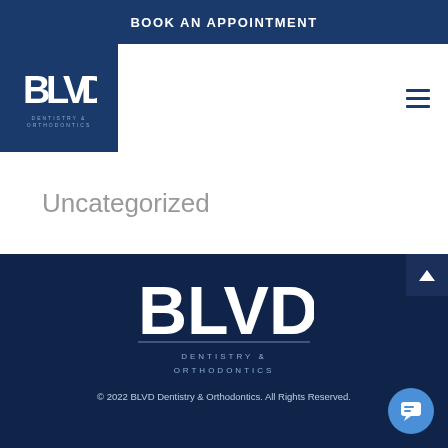BOOK AN APPOINTMENT
[Figure (logo): BLVD Dentistry & Orthodontics logo in white on dark blue background]
Uncategorized
[Figure (logo): BLVD Dentistry & Orthodontics logo in white on dark navy footer background]
© 2022 BLVD Dentistry & Orthodontics. All Rights Reserved.